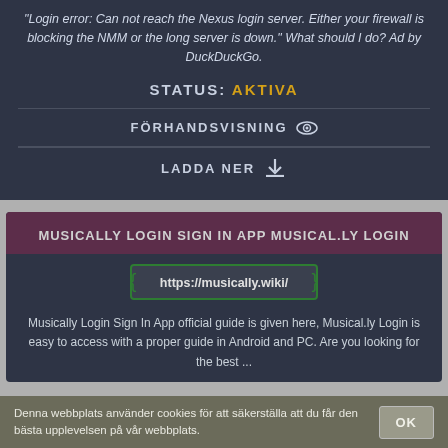"Login error: Can not reach the Nexus login server. Either your firewall is blocking the NMM or the long server is down." What should I do? Ad by DuckDuckGo.
STATUS: AKTIVA
FÖRHANDSVISNING
LADDA NER
MUSICALLY LOGIN SIGN IN APP MUSICAL.LY LOGIN
https://musically.wiki/
Musically Login Sign In App official guide is given here, Musical.ly Login is easy to access with a proper guide in Android and PC. Are you looking for the best ...
Denna webbplats använder cookies för att säkerställa att du får den bästa upplevelsen på vår webbplats.